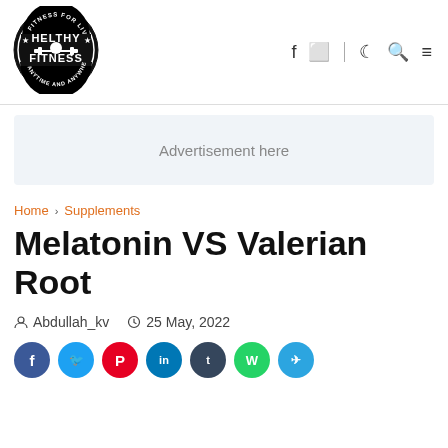[Figure (logo): Helthy Fitness circular logo — black and white with text 'FITNESS FOR LIVE', 'HELTHY FITNESS', 'ANYTIME AND ANYWHERE' and a dumbbell icon]
Advertisement here
Home > Supplements
Melatonin VS Valerian Root
Abdullah_kv   25 May, 2022